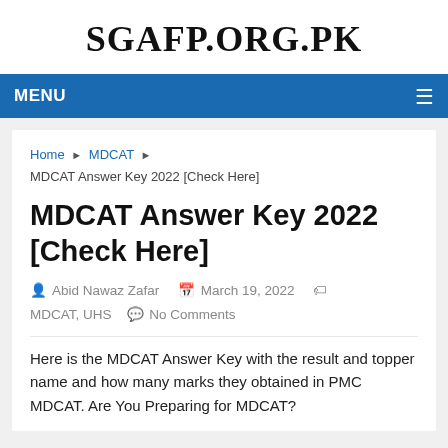SGAFP.ORG.PK
MENU
Home ▶ MDCAT ▶ MDCAT Answer Key 2022 [Check Here]
MDCAT Answer Key 2022 [Check Here]
Abid Nawaz Zafar   March 19, 2022   MDCAT, UHS   No Comments
Here is the MDCAT Answer Key with the result and topper name and how many marks they obtained in PMC MDCAT. Are You Preparing for MDCAT?